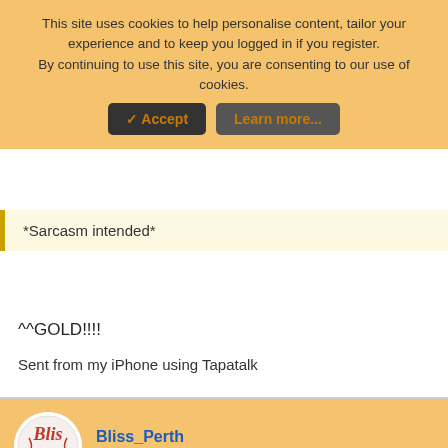This site uses cookies to help personalise content, tailor your experience and to keep you logged in if you register. By continuing to use this site, you are consenting to our use of cookies.
✓ Accept   Learn more...
*Sarcasm intended*
^^GOLD!!!!
Sent from my iPhone using Tapatalk
Bliss_Perth
Well-Known Member